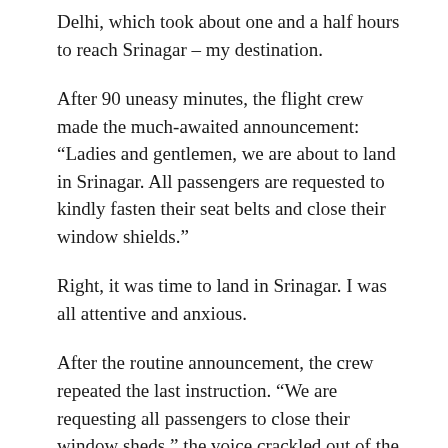Delhi, which took about one and a half hours to reach Srinagar – my destination.
After 90 uneasy minutes, the flight crew made the much-awaited announcement: “Ladies and gentlemen, we are about to land in Srinagar. All passengers are requested to kindly fasten their seat belts and close their window shields.”
Right, it was time to land in Srinagar. I was all attentive and anxious.
After the routine announcement, the crew repeated the last instruction. “We are requesting all passengers to close their window sheds,” the voice crackled out of the speakers, this time sounding more authoritative.
Close the window shields? What?